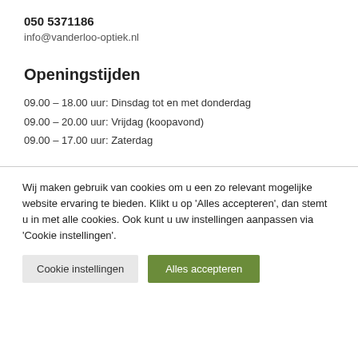050 5371186
info@vanderloo-optiek.nl
Openingstijden
09.00 – 18.00 uur: Dinsdag tot en met donderdag
09.00 – 20.00 uur: Vrijdag (koopavond)
09.00 – 17.00 uur: Zaterdag
Wij maken gebruik van cookies om u een zo relevant mogelijke website ervaring te bieden. Klikt u op 'Alles accepteren', dan stemt u in met alle cookies. Ook kunt u uw instellingen aanpassen via 'Cookie instellingen'.